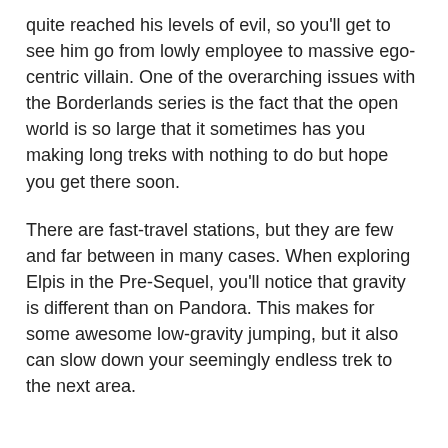quite reached his levels of evil, so you'll get to see him go from lowly employee to massive ego-centric villain. One of the overarching issues with the Borderlands series is the fact that the open world is so large that it sometimes has you making long treks with nothing to do but hope you get there soon.
There are fast-travel stations, but they are few and far between in many cases. When exploring Elpis in the Pre-Sequel, you'll notice that gravity is different than on Pandora. This makes for some awesome low-gravity jumping, but it also can slow down your seemingly endless trek to the next area.